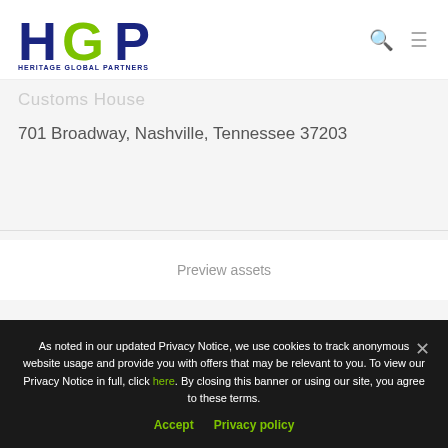[Figure (logo): Heritage Global Partners (HGP) logo with blue H and P letters and green G letter, with 'HERITAGE GLOBAL PARTNERS' text below]
Customs House
701 Broadway, Nashville, Tennessee 37203
Preview assets
As noted in our updated Privacy Notice, we use cookies to track anonymous website usage and provide you with offers that may be relevant to you. To view our Privacy Notice in full, click here. By closing this banner or using our site, you agree to these terms.
Accept   Privacy policy